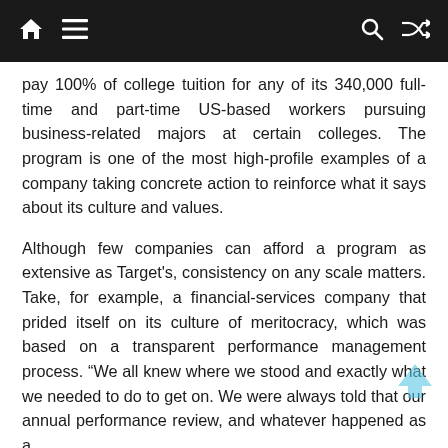Navigation bar with home, menu, search, and shuffle icons
pay 100% of college tuition for any of its 340,000 full-time and part-time US-based workers pursuing business-related majors at certain colleges. The program is one of the most high-profile examples of a company taking concrete action to reinforce what it says about its culture and values.
Although few companies can afford a program as extensive as Target's, consistency on any scale matters. Take, for example, a financial-services company that prided itself on its culture of meritocracy, which was based on a transparent performance management process. “We all knew where we stood and exactly what we needed to do to get on. We were always told that our annual performance review, and whatever happened as a